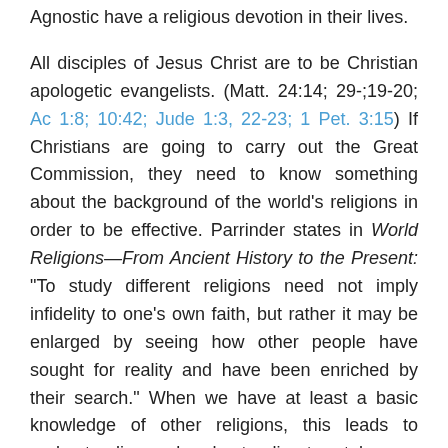Agnostic have a religious devotion in their lives.

All disciples of Jesus Christ are to be Christian apologetic evangelists. (Matt. 24:14; 29-;19-20; Ac 1:8; 10:42; Jude 1:3, 22-23; 1 Pet. 3:15) If Christians are going to carry out the Great Commission, they need to know something about the background of the world's religions in order to be effective. Parrinder states in World Religions—From Ancient History to the Present: “To study different religions need not imply infidelity to one’s own faith, but rather it may be enlarged by seeing how other people have sought for reality and have been enriched by their search.” When we have at least a basic knowledge of other religions, this leads to understanding and understanding to a tolerance of people with a different viewpoint, which is in no way suggesting that we accept anything unbiblical.